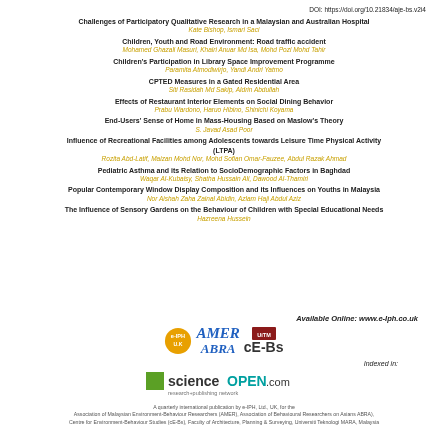DOI: https://doi.org/10.21834/aje-bs.v2i4
Challenges of Participatory Qualitative Research in a Malaysian and Australian Hospital
Kate Bishop, Ismari Saci
Children, Youth and Road Environment: Road traffic accident
Mohamed Ghazali Masuri, Khairi Anuar Md Isa, Mohd Pozi Mohd Tahir
Children's Participation in Library Space Improvement Programme
Paramita Atmodiwirjo, Yandi Andri Yatmo
CPTED Measures in a Gated Residential Area
Siti Rasidah Md Sakip, Aldrin Abdullah
Effects of Restaurant Interior Elements on Social Dining Behavior
Prabu Wardono, Haruo Hibino, Shinichi Koyama
End-Users' Sense of Home in Mass-Housing Based on Maslow's Theory
S. Javad Asad Poor
Influence of Recreational Facilities among Adolescents towards Leisure Time Physical Activity (LTPA)
Rozita Abd-Latif, Maizan Mohd Nor, Mohd Sofian Omar-Fauzee, Abdul Razak Ahmad
Pediatric Asthma and its Relation to SocioDemographic Factors in Baghdad
Waqar Al-Kubaisy, Shatha Hussain Ali, Dawood Al-Thamin
Popular Contemporary Window Display Composition and its Influences on Youths in Malaysia
Nor Aishah Zaha Zainal Abidin, Azlam Haji Abdul Aziz
The Influence of Sensory Gardens on the Behaviour of Children with Special Educational Needs
Hazreena Hussein
Available Online: www.e-Iph.co.uk
[Figure (logo): e-IPH UK badge (gold circle), AMER (blue italic), UiTM logo, ABRA (blue italic), cE-Bs (dark bold)]
Indexed in:
[Figure (logo): ScienceOPEN.com logo with green square and tagline research+publishing network]
A quarterly international publication by e-IPH, Ltd., UK, for the Association of Malaysian Environment-Behaviour Researchers (AMER), Association of Behavioural Researchers on Asians ABRA), Centre for Environment-Behaviour Studies (cE-Bs), Faculty of Architecture, Planning & Surveying, Universiti Teknologi MARA, Malaysia